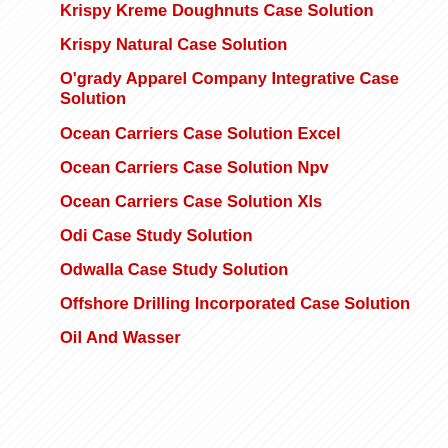Krispy Kreme Doughnuts Case Solution
Krispy Natural Case Solution
O'grady Apparel Company Integrative Case Solution
Ocean Carriers Case Solution Excel
Ocean Carriers Case Solution Npv
Ocean Carriers Case Solution Xls
Odi Case Study Solution
Odwalla Case Study Solution
Offshore Drilling Incorporated Case Solution
Oil And Wasser